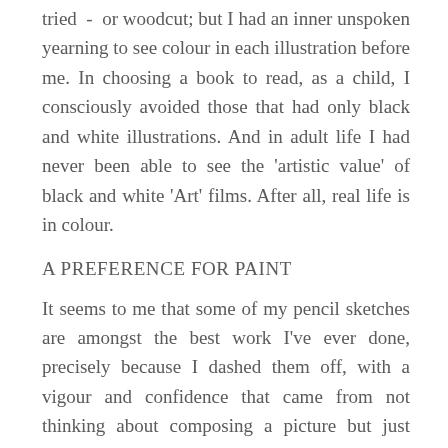tried - or woodcut; but I had an inner unspoken yearning to see colour in each illustration before me. In choosing a book to read, as a child, I consciously avoided those that had only black and white illustrations. And in adult life I had never been able to see the 'artistic value' of black and white 'Art' films. After all, real life is in colour.
A PREFERENCE FOR PAINT
It seems to me that some of my pencil sketches are amongst the best work I've ever done, precisely because I dashed them off, with a vigour and confidence that came from not thinking about composing a picture but just from reacting to a stimulus, with great concentration and speed. Nevertheless, I feel disappointed because the concept falls down